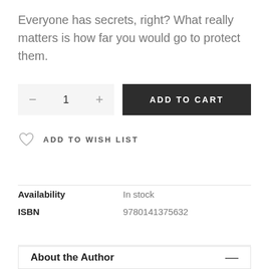Everyone has secrets, right? What really matters is how far you would go to protect them.
[Figure (other): Quantity selector with minus button, number 1, plus button; and an ADD TO CART dark button]
ADD TO WISH LIST
| Field | Value |
| --- | --- |
| Availability | In stock |
| ISBN | 9780141375632 |
About the Author